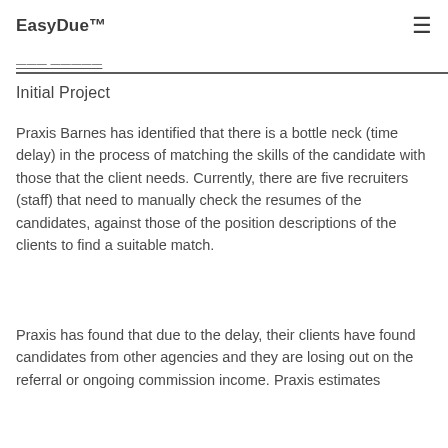EasyDue™
Initial Project
Praxis Barnes has identified that there is a bottle neck (time delay) in the process of matching the skills of the candidate with those that the client needs. Currently, there are five recruiters (staff) that need to manually check the resumes of the candidates, against those of the position descriptions of the clients to find a suitable match.
Praxis has found that due to the delay, their clients have found candidates from other agencies and they are losing out on the referral or ongoing commission income. Praxis estimates